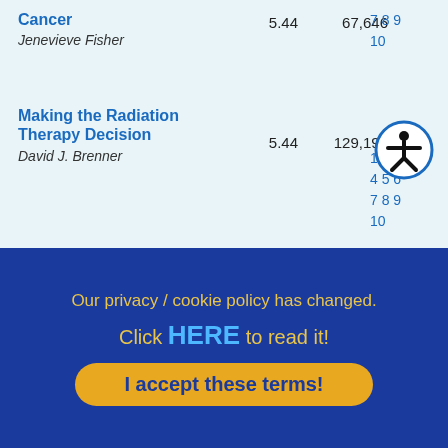| Title | Rating | Views | Pages |
| --- | --- | --- | --- |
| Cancer | 5.44 | 67,646 | 7 8 9
10 |
| Making the Radiation Therapy Decision | 5.44 | 129,194 | 1 2
4 5 6
7 8 9
10 |
[Figure (illustration): Accessibility icon — circular badge with person symbol]
Our privacy / cookie policy has changed. Click HERE to read it!
I accept these terms!